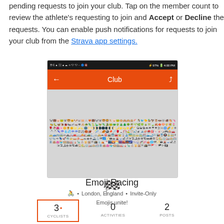pending requests to join your club. Tap on the member count to review the athlete's requesting to join and Accept or Decline the requests. You can enable push notifications for requests to join your club from the Strava app settings.
[Figure (screenshot): Mobile screenshot of Strava app showing 'Club' screen titled 'Emoji Racing' with a grid of emoji icons, club details: London, England, Invite-Only, description 'Emojis unite!', and stats: 3 Cyclists, 0 Activities, 2 Posts]
Emoji Racing
🚴 • London, England • Invite-Only
Emojis unite!
3 • CYCLISTS   0 ACTIVITIES   2 POSTS